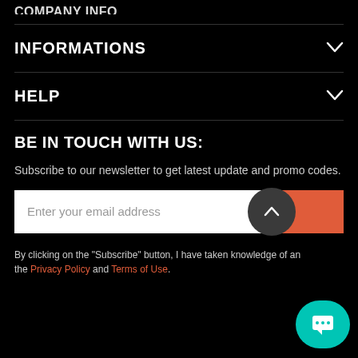COMPANY INFO
INFORMATIONS
HELP
BE IN TOUCH WITH US:
Subscribe to our newsletter to get latest update and promo codes.
Enter your email address
By clicking on the "Subscribe" button, I have taken knowledge of and the Privacy Policy and Terms of Use.